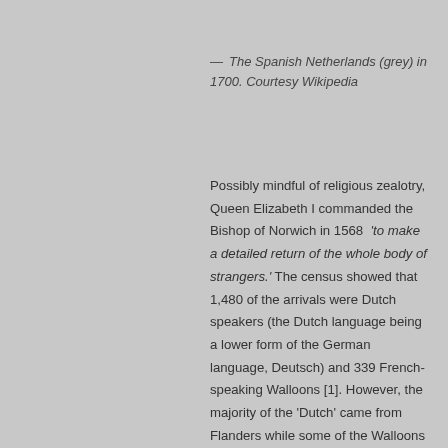— The Spanish Netherlands (grey) in 1700. Courtesy Wikipedia
Possibly mindful of religious zealotry, Queen Elizabeth I commanded the Bishop of Norwich in 1568 'to make a detailed return of the whole body of strangers.' The census showed that 1,480 of the arrivals were Dutch speakers (the Dutch language being a lower form of the German language, Deutsch) and 339 French-speaking Walloons [1]. However, the majority of the 'Dutch' came from Flanders while some of the Walloons also came from Flanders as well as what is now northern France [1, 2]. Boundaries have changed but we are talking about an area oscillating around modern Belgium. Indeed, an oration to Queen Elizabeth I on the reverse of Braun and Hogenberg's map of Norwich (1681) refers to 'Belgic friends'.